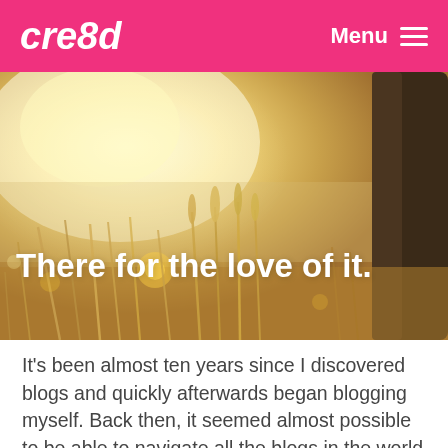cre8d  Menu
[Figure (photo): Sunlit meadow with tall dry grasses and wheat stalks in golden bokeh light, with a dark tree trunk visible on the right side. Text overlay: There for the love of it.]
It’s been almost ten years since I discovered blogs and quickly afterwards began blogging myself. Back then, it seemed almost possible to be able to navigate all the blogs in the world and bloggers in various topical areas knew each other well. Blogging tools weren’t all that